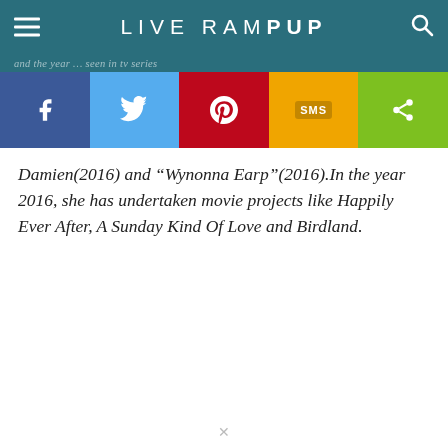LIVE RAMPUP
and the year … seen in tv series
[Figure (other): Social share buttons bar: Facebook (blue), Twitter (light blue), Pinterest (red), SMS (yellow/orange), Share (green)]
Damien(2016) and "Wynonna Earp"(2016).In the year 2016, she has undertaken movie projects like Happily Ever After, A Sunday Kind Of Love and Birdland.